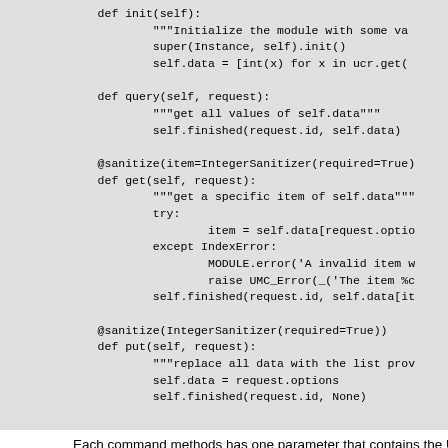[Figure (screenshot): Python code block showing class methods: query, get, and put, with decorators and docstrings, on a grey background]
Each command methods has one parameter that contains the UMCP req
id
    the unique identifier of the request.
options
    contains the arguments for the command. For most commands it